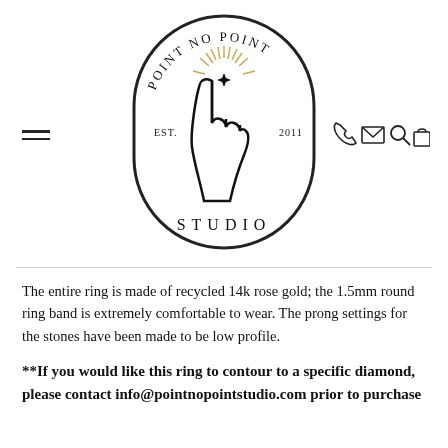[Figure (logo): Point No Point Studio oval logo with a hand and starburst, text reading POINT NO POINT EST. 2011 STUDIO]
The entire ring is made of recycled 14k rose gold; the 1.5mm round ring band is extremely comfortable to wear. The prong settings for the stones have been made to be low profile.
**If you would like this ring to contour to a specific diamond, please contact info@pointnopointstudio.com prior to purchase